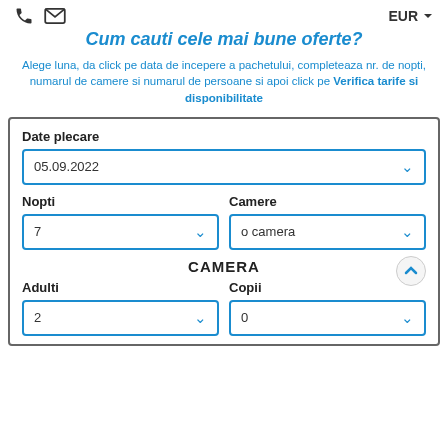EUR
Cum cauti cele mai bune oferte?
Alege luna, da click pe data de incepere a pachetului, completeaza nr. de nopti, numarul de camere si numarul de persoane si apoi click pe Verifica tarife si disponibilitate
Date plecare
05.09.2022
Nopti
7
Camere
o camera
CAMERA
Adulti
2
Copii
0